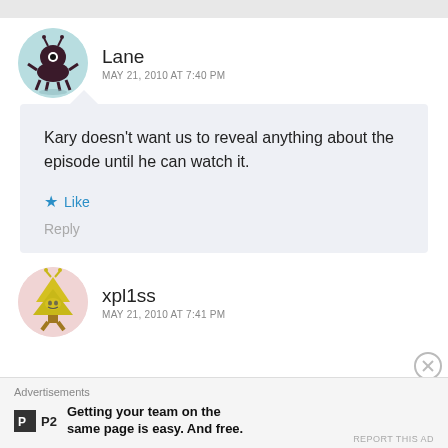[Figure (illustration): Avatar for user Lane: cartoon monster creature on teal circular background]
Lane
MAY 21, 2010 AT 7:40 PM
Kary doesn’t want us to reveal anything about the episode until he can watch it.
Like
Reply
[Figure (illustration): Avatar for user xpl1ss: cartoon Christmas tree alien creature on pink circular background]
xpl1ss
MAY 21, 2010 AT 7:41 PM
Advertisements
[Figure (logo): P2 logo: small square icon with letter P and text P2]
Getting your team on the same page is easy. And free.